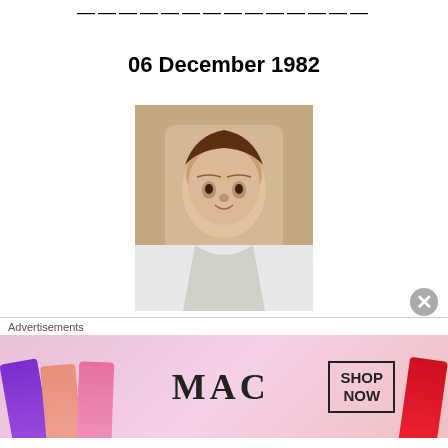——————————————
06 December 1982
[Figure (photo): Black and white photograph of a young man, Alan Callaghan, aged 17]
Alan Callaghan, (17)
Protestant
Status: Civilian (Civ),
Killed by Irish National Liberation Army (INLA)
Advertisements
[Figure (other): MAC cosmetics advertisement banner showing lipsticks and SHOP NOW button]